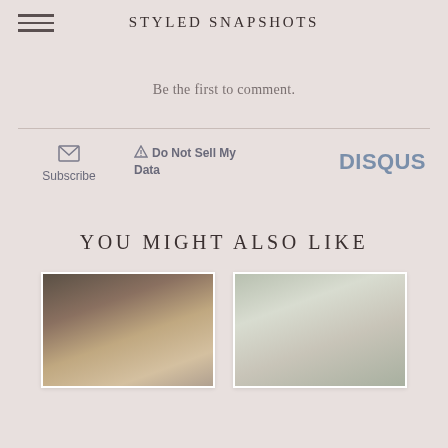STYLED SNAPSHOTS
Be the first to comment.
Subscribe   Do Not Sell My Data   DISQUS
YOU MIGHT ALSO LIKE
[Figure (photo): Two fashion blog post thumbnail photos side by side]
[Figure (photo): Woman in hat and sunglasses with leather jacket outdoors]
[Figure (photo): Woman in white sweater standing by door with holiday wreaths]